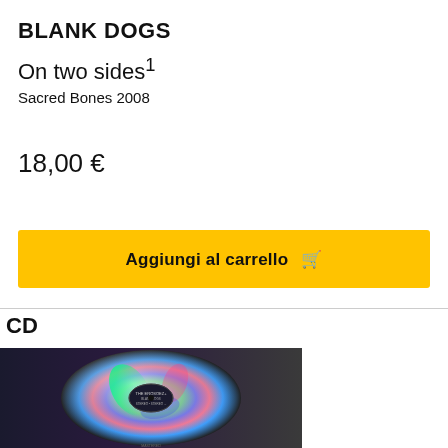BLANK DOGS
On two sides1
Sacred Bones 2008
18,00 €
Aggiungi al carrello 🛒
CD
[Figure (photo): Close-up photo of a CD disc showing iridescent rainbow reflections on the disc surface, with a label in the center hub area.]